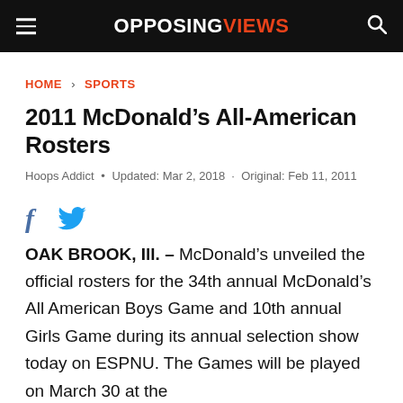OPPOSING VIEWS
HOME > SPORTS
2011 McDonald’s All-American Rosters
Hoops Addict • Updated: Mar 2, 2018 · Original: Feb 11, 2011
[Figure (other): Facebook and Twitter social share icons]
OAK BROOK, Ill. – McDonald’s unveiled the official rosters for the 34th annual McDonald’s All American Boys Game and 10th annual Girls Game during its annual selection show today on ESPNU. The Games will be played on March 30 at the